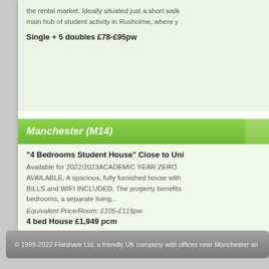the rental market. Ideally situated just a short walk to the main hub of student activity in Rusholme, where yo...
Single + 5 doubles £78-£95pw
Manchester (M14)
"4 Bedrooms Student House" Close to Uni
Available for 2022/2023ACADEMIC YEAR ZERO AVAILABLE. A spacious, fully furnished house with BILLS and WIFI INCLUDED. The property benefits bedrooms, a separate living...
Equivalent Price/Room: £105-£115pw
4 bed House £1,949 pcm
© 1999-2022 Flatshare Ltd, a friendly UK company with offices near Manchester an...